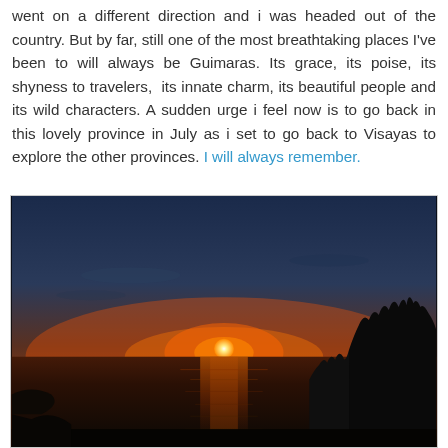went on a different direction and i was headed out of the country. But by far, still one of the most breathtaking places I've been to will always be Guimaras. Its grace, its poise, its shyness to travelers, its innate charm, its beautiful people and its wild characters. A sudden urge i feel now is to go back in this lovely province in July as i set to go back to Visayas to explore the other provinces. I will always remember.
[Figure (photo): A sunset photograph over water showing an orange-red sky with the sun just above the horizon, silhouetted trees on the right, and water in the foreground reflecting the sunlight.]